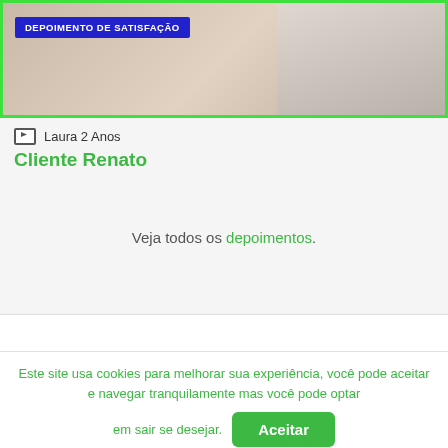[Figure (photo): Video thumbnail showing a person with 'DEPOIMENTO DE SATISFAÇÃO' badge, surrounded by green border]
Laura 2 Anos
Cliente Renato
Veja todos os depoimentos.
Este site usa cookies para melhorar sua experiência, você pode aceitar e navegar tranquilamente mas você pode optar em sair se desejar.
Aceitar